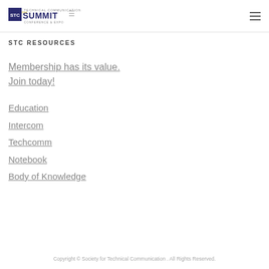STC Summit Conference & Expo
STC RESOURCES
Membership has its value.
Join today!
Education
Intercom
Techcomm
Notebook
Body of Knowledge
Copyright © Society for Technical Communication . All Rights Reserved.